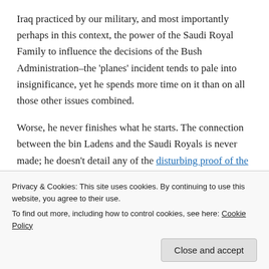Iraq practiced by our military, and most importantly perhaps in this context, the power of the Saudi Royal Family to influence the decisions of the Bush Administration–the 'planes' incident tends to pale into insignificance, yet he spends more time on it than on all those other issues combined.

Worse, he never finishes what he starts. The connection between the bin Ladens and the Saudi Royals is never made; he doesn't detail any of the disturbing proof of the Saudi govt's support for terrorists, including Al Qaeda; he shows that Iraqi oil was clearly a large part of
Privacy & Cookies: This site uses cookies. By continuing to use this website, you agree to their use.
To find out more, including how to control cookies, see here: Cookie Policy
the neocons have had for the Middle East since